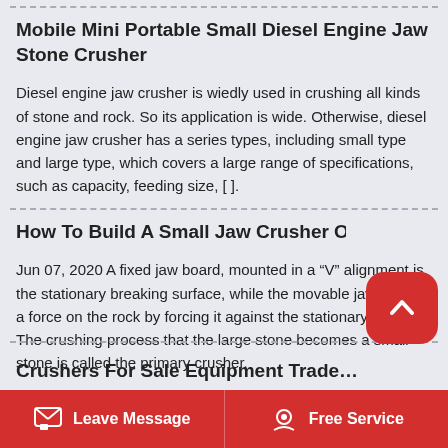Mobile Mini Portable Small Diesel Engine Jaw Stone Crusher
Diesel engine jaw crusher is wiedly used in crushing all kinds of stone and rock. So its application is wide. Otherwise, diesel engine jaw crusher has a series types, including small type and large type, which covers a large range of specifications, such as capacity, feeding size, [ ].
How To Build A Small Jaw Crusher Optimize Yorks…
Jun 07, 2020 A fixed jaw board, mounted in a “V” alignment is the stationary breaking surface, while the movable jaw exerts a force on the rock by forcing it against the stationary plate. The crushing process that the large stone becomes a small stone is called the primary crusher.
Crushers For Sale Equipment Trade…
Leave Message   Free Service